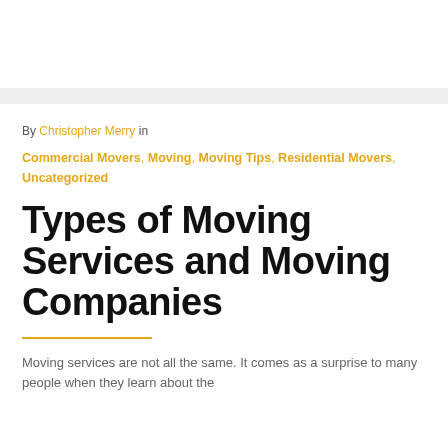By Christopher Merry in
Commercial Movers, Moving, Moving Tips, Residential Movers, Uncategorized
Types of Moving Services and Moving Companies
Moving services are not all the same. It comes as a surprise to many people when they learn about the